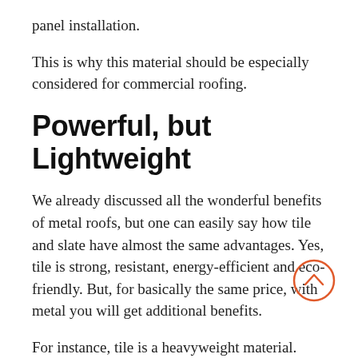panel installation.
This is why this material should be especially considered for commercial roofing.
Powerful, but Lightweight
We already discussed all the wonderful benefits of metal roofs, but one can easily say how tile and slate have almost the same advantages. Yes, tile is strong, resistant, energy-efficient and eco-friendly. But, for basically the same price, with metal you will get additional benefits.
For instance, tile is a heavyweight material. This means that it is not suitable for...